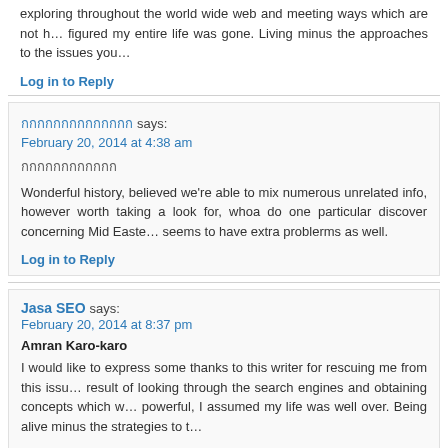exploring throughout the world wide web and meeting ways which are not h… figured my entire life was gone. Living minus the approaches to the issues you…
Log in to Reply
กกกกกกกกกกกกกก says: February 20, 2014 at 4:38 am
กกกกกกกกกกกก
Wonderful history, believed we're able to mix numerous unrelated info, however worth taking a look for, whoa do one particular discover concerning Mid Easte… seems to have extra problerms as well.
Log in to Reply
Jasa SEO says: February 20, 2014 at 8:37 pm
Amran Karo-karo
I would like to express some thanks to this writer for rescuing me from this issu… result of looking through the search engines and obtaining concepts which w… powerful, I assumed my life was well over. Being alive minus the strategies to t…
Log in to Reply
what education is needed to become a travel agent says: February 21, 2014 at 2:30 am